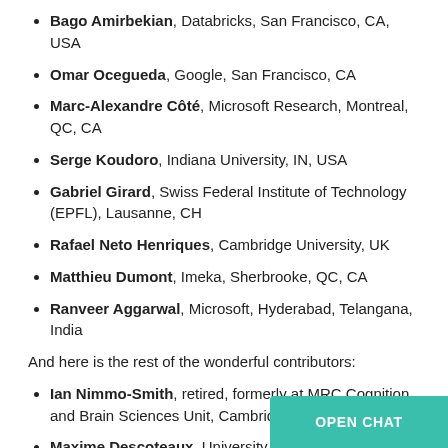Bago Amirbekian, Databricks, San Francisco, CA, USA
Omar Ocegueda, Google, San Francisco, CA
Marc-Alexandre Côté, Microsoft Research, Montreal, QC, CA
Serge Koudoro, Indiana University, IN, USA
Gabriel Girard, Swiss Federal Institute of Technology (EPFL), Lausanne, CH
Rafael Neto Henriques, Cambridge University, UK
Matthieu Dumont, Imeka, Sherbrooke, QC, CA
Ranveer Aggarwal, Microsoft, Hyderabad, Telangana, India
And here is the rest of the wonderful contributors:
Ian Nimmo-Smith, retired, formerly at MRC Cognition and Brain Sciences Unit, Cambridge, UK
Maxime Descoteaux, University of Sherbrooke, QC, CA
Stefan Van der Walt, University of C...